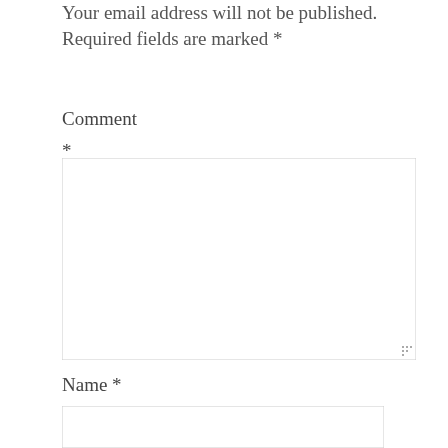Your email address will not be published. Required fields are marked *
Comment *
[Figure (other): Large multi-line text input box for comment entry with resize handle]
Name *
[Figure (other): Single-line text input box for name entry]